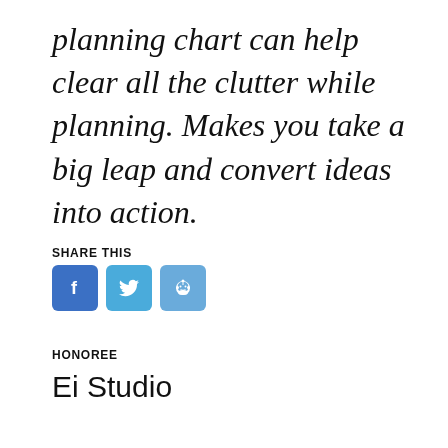planning chart can help clear all the clutter while planning. Makes you take a big leap and convert ideas into action.
SHARE THIS
[Figure (infographic): Three social share buttons: Facebook (blue), Twitter (light blue), Reddit (light blue) with respective icons]
HONOREE
Ei Studio